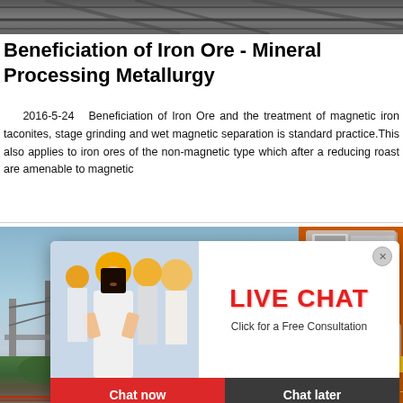[Figure (photo): Industrial conveyor or mining equipment - top banner image strip]
Beneficiation of Iron Ore - Mineral Processing Metallurgy
2016-5-24   Beneficiation of Iron Ore and the treatment of magnetic iron taconites, stage grinding and wet magnetic separation is standard practice.This also applies to iron ores of the non-magnetic type which after a reducing roast are amenable to magnetic
[Figure (photo): Industrial mineral processing facility with structural framework - left portion behind popup]
[Figure (photo): Live Chat popup overlay with workers in hard hats, red LIVE CHAT text, Chat now and Chat later buttons]
[Figure (screenshot): Right orange advertisement panel with mining machinery images, Enjoy 3% discount bar, Click to Chat button, and Enquiry section]
[Figure (photo): Bottom industrial scene with heavy equipment]